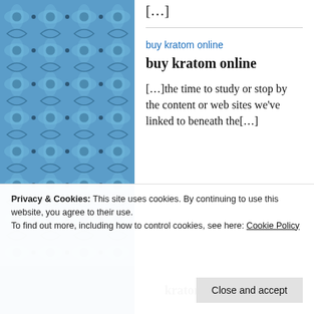[…]
buy kratom online
buy kratom online
[…]the time to study or stop by the content or web sites we've linked to beneath the[…]
kratom for depression
Privacy & Cookies: This site uses cookies. By continuing to use this website, you agree to their use.
To find out more, including how to control cookies, see here: Cookie Policy
Close and accept